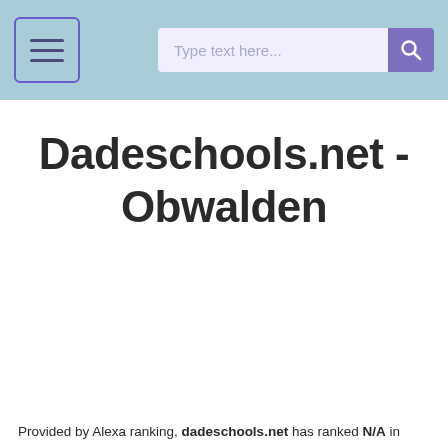Type text here...
Dadeschools.net - Obwalden
Provided by Alexa ranking, dadeschools.net has ranked N/A in